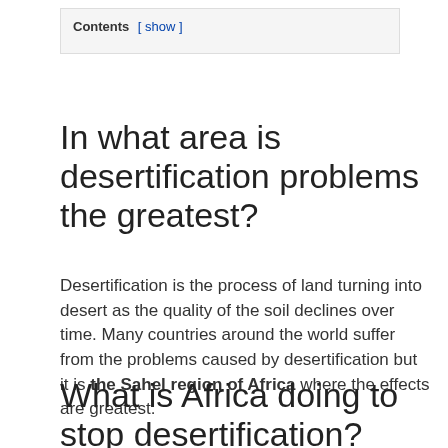Contents [ show ]
In what area is desertification problems the greatest?
Desertification is the process of land turning into desert as the quality of the soil declines over time. Many countries around the world suffer from the problems caused by desertification but it is the Sahel region of Africa where the effects are greatest.
What is Africa doing to stop desertification?